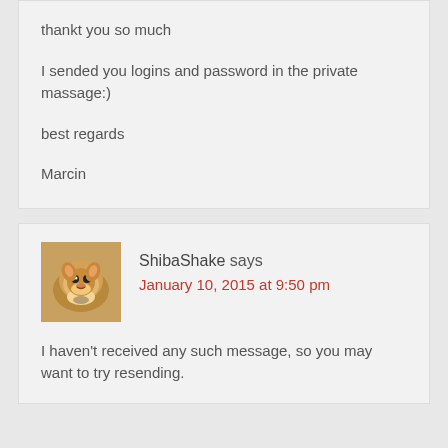thankt you so much

I sended you logins and password in the private massage:)

best regards

Marcin
ShibaShake says
January 10, 2015 at 9:50 pm
I haven't received any such message, so you may want to try resending.